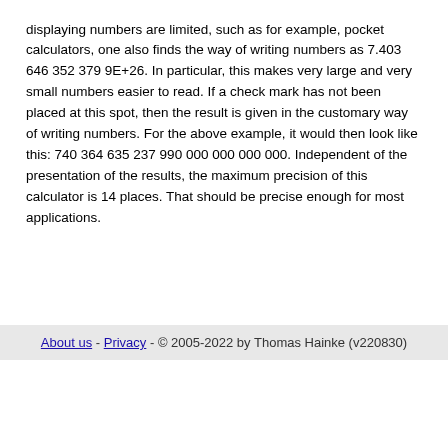displaying numbers are limited, such as for example, pocket calculators, one also finds the way of writing numbers as 7.403 646 352 379 9E+26. In particular, this makes very large and very small numbers easier to read. If a check mark has not been placed at this spot, then the result is given in the customary way of writing numbers. For the above example, it would then look like this: 740 364 635 237 990 000 000 000 000. Independent of the presentation of the results, the maximum precision of this calculator is 14 places. That should be precise enough for most applications.
About us - Privacy - © 2005-2022 by Thomas Hainke (v220830)